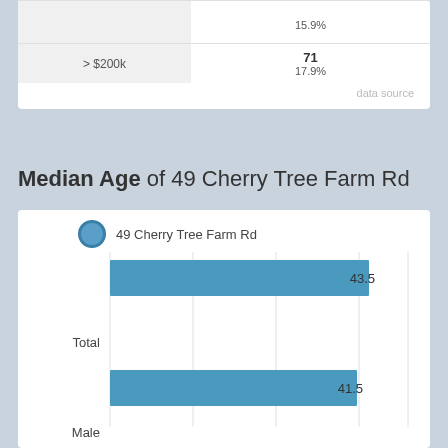| Income Range | Value |
| --- | --- |
|  | 15.9% |
| > $200k | 71
17.9% |
data source
Median Age of 49 Cherry Tree Farm Rd
[Figure (bar-chart): Median Age — 49 Cherry Tree Farm Rd]